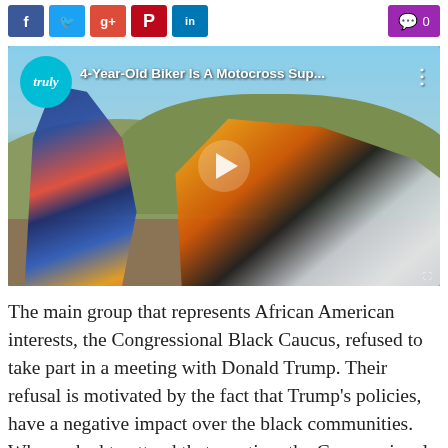[Figure (other): Social media share buttons: Facebook (blue), Twitter (light blue), Google+ (red), Pinterest (dark red), LinkedIn (blue), and a purple comment button with count 0]
[Figure (screenshot): YouTube video thumbnail showing a young child in motocross gear standing next to an orange KTM dirt bike in a hilly outdoor setting. Video title reads '4-Year-Old Biker Is A Motocross Sup...' with Truly channel logo. A play button is visible in the center.]
The main group that represents African American interests, the Congressional Black Caucus, refused to take part in a meeting with Donald Trump. Their refusal is motivated by the fact that Trump's policies, have a negative impact over the black communities. When asked to attend that meeting, the Congressional Black